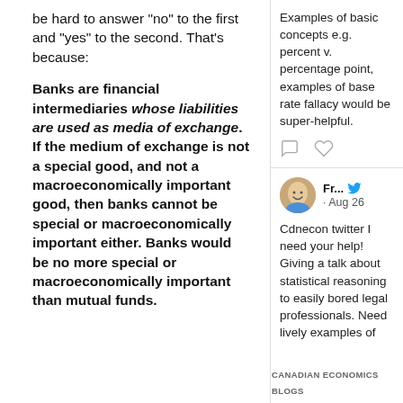be hard to answer "no" to the first and "yes" to the second. That's because:
Banks are financial intermediaries whose liabilities are used as media of exchange. If the medium of exchange is not a special good, and not a macroeconomically important good, then banks cannot be special or macroeconomically important either. Banks would be no more special or macroeconomically important than mutual funds.
Examples of basic concepts e.g. percent v. percentage point, examples of base rate fallacy would be super-helpful.
[Figure (screenshot): Two heart/comment icons (tweet action buttons)]
[Figure (screenshot): Tweet card with avatar (egg-like face illustration), username Fr..., Twitter bird icon, date Aug 26, and tweet text: Cdnecon twitter I need your help! Giving a talk about statistical reasoning to easily bored legal professionals. Need lively examples of]
CANADIAN ECONOMICS BLOGS